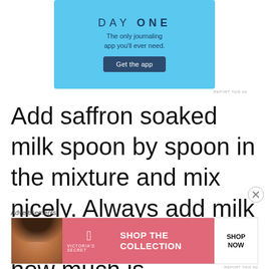[Figure (screenshot): Day One journaling app advertisement on light blue background with 'Get the app' button]
Add saffron soaked milk spoon by spoon in the mixture and mix nicely. Always add milk little by little. Add Milk , how much is
Advertisements
[Figure (screenshot): Victoria's Secret advertisement with model photo, pink background, 'SHOP THE COLLECTION' text and 'SHOP NOW' button]